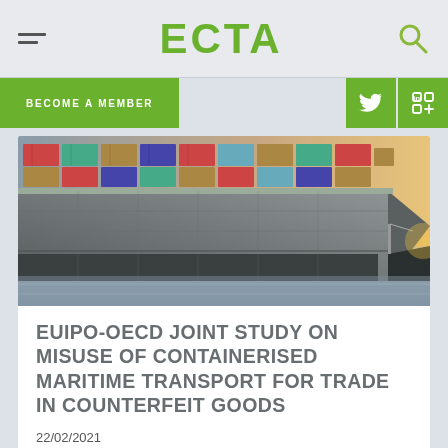ECTA
BECOME A MEMBER
[Figure (photo): Large container ship photographed from a low angle against a warm sunset sky, showing the hull and stacked shipping containers]
EUIPO-OECD JOINT STUDY ON MISUSE OF CONTAINERISED MARITIME TRANSPORT FOR TRADE IN COUNTERFEIT GOODS
22/02/2021